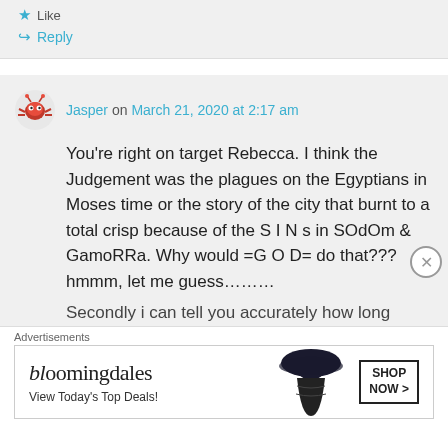Like
Reply
Jasper on March 21, 2020 at 2:17 am
You’re right on target Rebecca. I think the Judgement was the plagues on the Egyptians in Moses time or the story of the city that burnt to a total crisp because of the S I N s in SOdOm & GamoRRa. Why would =G O D= do that??? hmmm, let me guess……..
Secondly i can tell you accurately how long
Advertisements
[Figure (screenshot): Bloomingdale's advertisement banner with model wearing large hat. Text: bloomingdales, View Today’s Top Deals!, SHOP NOW >]